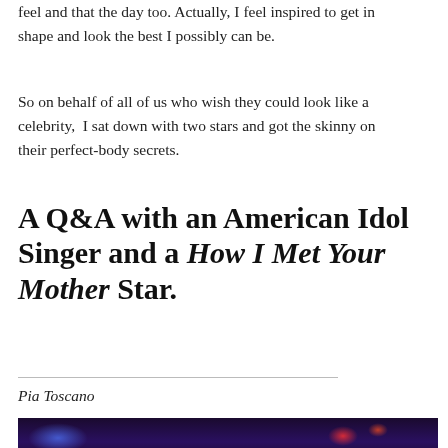feel and that the day too. Actually, I feel inspired to get in shape and look the best I possibly can be.
So on behalf of all of us who wish they could look like a celebrity, I sat down with two stars and got the skinny on their perfect-body secrets.
A Q&A with an American Idol Singer and a How I Met Your Mother Star.
Pia Toscano
[Figure (photo): Dark photo with blue and red stage lights, appears to be a concert or performance setting]